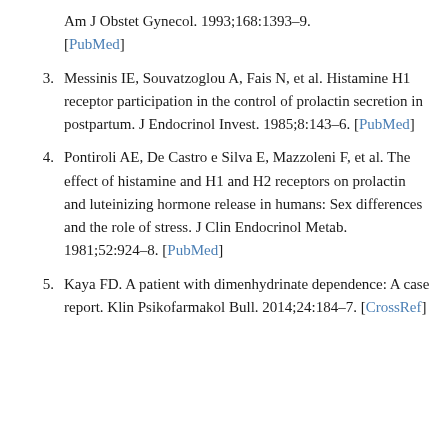Am J Obstet Gynecol. 1993;168:1393–9. [PubMed]
3. Messinis IE, Souvatzoglou A, Fais N, et al. Histamine H1 receptor participation in the control of prolactin secretion in postpartum. J Endocrinol Invest. 1985;8:143–6. [PubMed]
4. Pontiroli AE, De Castro e Silva E, Mazzoleni F, et al. The effect of histamine and H1 and H2 receptors on prolactin and luteinizing hormone release in humans: Sex differences and the role of stress. J Clin Endocrinol Metab. 1981;52:924–8. [PubMed]
5. Kaya FD. A patient with dimenhydrinate dependence: A case report. Klin Psikofarmakol Bull. 2014;24:184–7. [CrossRef]